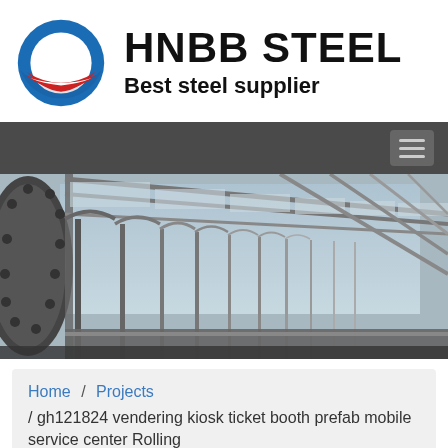[Figure (logo): HNBB Steel company logo with circular blue and red swoosh design similar to an Obama campaign logo, alongside bold text 'HNBB STEEL' and subtitle 'Best steel supplier']
[Figure (photo): Interior view of a large industrial steel structure or tunnel with arched steel framework and glass/panel roof, perspective shot looking down a long corridor]
Home / Projects / gh121824 vendering kiosk ticket booth prefab mobile service center Rolling